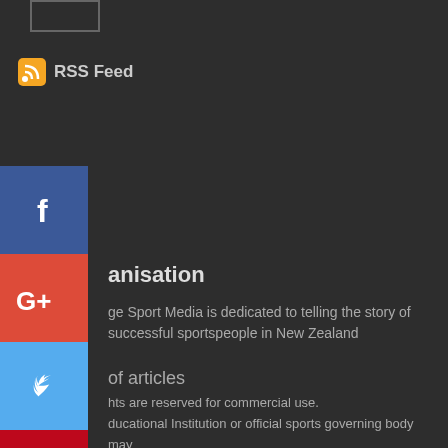[Figure (screenshot): Small outlined rectangle/box near top-left]
RSS Feed
[Figure (logo): Facebook social share button (blue with f)]
anisation
[Figure (logo): Google+ social share button (red with G+)]
ge Sport Media is dedicated to telling the story of successful sportspeople in New Zealand
[Figure (logo): Twitter social share button (blue with bird)]
of articles
[Figure (logo): Pinterest social share button (red with P)]
hts are reserved for commercial use.
ducational Institution or official sports governing body may
aterial with acknowledgement to College Sport Media
[Figure (logo): Blogger social share button (orange with B)]
[Figure (logo): More options button (gray with ...)]